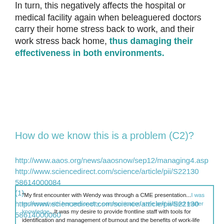In turn, this negatively affects the hospital or medical facility again when beleaguered doctors carry their home stress back to work, and their work stress back home, thus damaging their effectiveness in both environments.
How do we know this is a problem (C2)?
http://www.aaos.org/news/aaosnow/sep12/managing4.asp http://www.sciencedirect.com/science/article/pii/S221305 8614000084 (1) http://www.sciencedirect.com/science/article/pii/S221305 8614000060
"My first encounter with Wendy was through a CME presentation...I was impressed with her personality, communication style and subject matter knowledge...It was my desire to provide frontline staff with tools for identification and management of burnout and the benefits of work-life balance. [I had her speak to my team.]...Wendy's presentation was outstanding and well-received. The educational reviews were highly complimentary and staff personally thanked me for hosting this event." — Debra Plochacchio, Director, Utilization Management